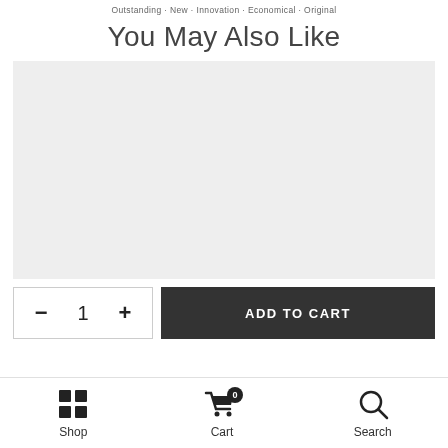Outstanding · New · Innovation · Economical · Original
You May Also Like
[Figure (photo): Large light gray placeholder product image area]
– 1 +  ADD TO CART
Shop  Cart 0  Search